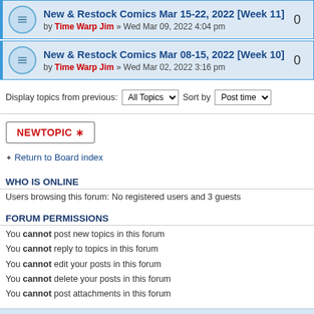New & Restock Comics Mar 15-22, 2022 [Week 11] by Time Warp Jim » Wed Mar 09, 2022 4:04 pm — 0 replies
New & Restock Comics Mar 08-15, 2022 [Week 10] by Time Warp Jim » Wed Mar 02, 2022 3:16 pm — 0 replies
Display topics from previous: All Topics  Sort by Post time
NEWTOPIC *
Return to Board index
WHO IS ONLINE
Users browsing this forum: No registered users and 3 guests
FORUM PERMISSIONS
You cannot post new topics in this forum
You cannot reply to topics in this forum
You cannot edit your posts in this forum
You cannot delete your posts in this forum
You cannot post attachments in this forum
Board index  The team • Delete all board c  Powered by phpBB © 2000, 2002, 2005, 2007 phpBB